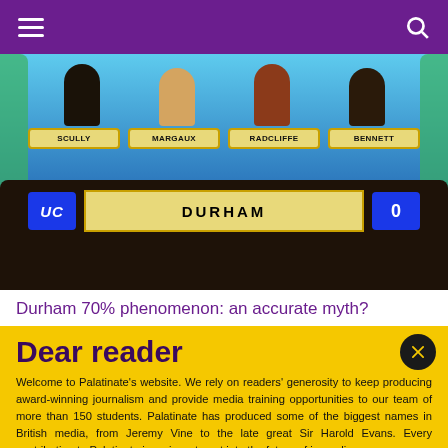Navigation bar with hamburger menu and search icon
[Figure (photo): University Challenge TV show screenshot showing four contestants at a desk with name plates reading SCULLY, MARGAUX, RADCLIFFE, BENNETT. Score board shows UC logo, DURHAM team name, and score of 0.]
Durham 70% phenomenon: an accurate myth?
Dear reader
Welcome to Palatinate's website. We rely on readers' generosity to keep producing award-winning journalism and provide media training opportunities to our team of more than 150 students. Palatinate has produced some of the biggest names in British media, from Jeremy Vine to the late great Sir Harold Evans. Every contribution to Palatinate is an investment into the future of journalism.